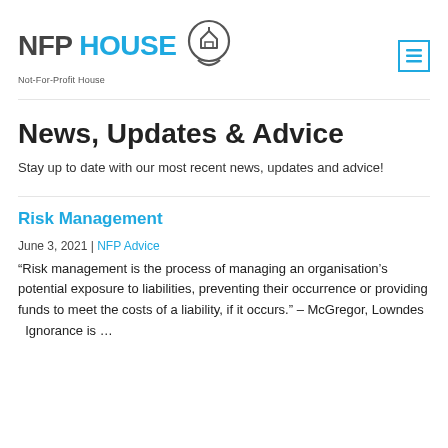[Figure (logo): NFP House logo with house icon in speech bubble and tagline 'Not-For-Profit House']
News, Updates & Advice
Stay up to date with our most recent news, updates and advice!
Risk Management
June 3, 2021 | NFP Advice
“Risk management is the process of managing an organisation’s potential exposure to liabilities, preventing their occurrence or providing funds to meet the costs of a liability, if it occurs.” – McGregor, Lowndes   Ignorance is …